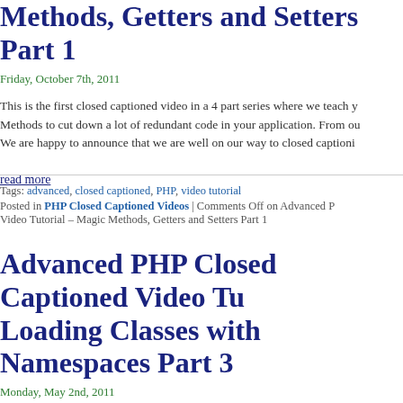Methods, Getters and Setters Part 1
Friday, October 7th, 2011
This is the first closed captioned video in a 4 part series where we teach y... Methods to cut down a lot of redundant code in your application. From ou... We are happy to announce that we are well on our way to closed captioni...
read more
Tags: advanced, closed captioned, PHP, video tutorial
Posted in PHP Closed Captioned Videos | Comments Off on Advanced P... Video Tutorial – Magic Methods, Getters and Setters Part 1
Advanced PHP Closed Captioned Video Tu... Loading Classes with Namespaces Part 3
Monday, May 2nd, 2011
This is the third closed captioned video in a series where we explore PHP... PHP concepts. From our Advanced PHP Course. We are happy to annou... our way to closed captioning all of our Web Design and Web Programmin... courses. To find more courses [...]
read more